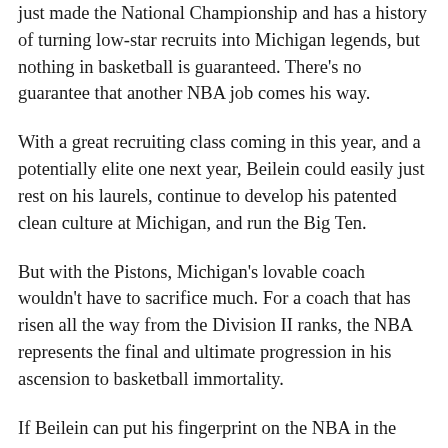just made the National Championship and has a history of turning low-star recruits into Michigan legends, but nothing in basketball is guaranteed. There's no guarantee that another NBA job comes his way.
With a great recruiting class coming in this year, and a potentially elite one next year, Beilein could easily just rest on his laurels, continue to develop his patented clean culture at Michigan, and run the Big Ten.
But with the Pistons, Michigan's lovable coach wouldn't have to sacrifice much. For a coach that has risen all the way from the Division II ranks, the NBA represents the final and ultimate progression in his ascension to basketball immortality.
If Beilein can put his fingerprint on the NBA in the same